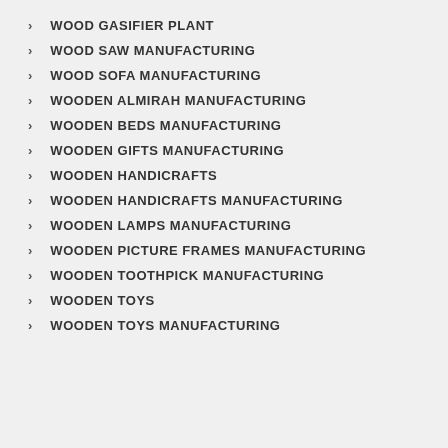WOOD GASIFIER PLANT
WOOD SAW MANUFACTURING
WOOD SOFA MANUFACTURING
WOODEN ALMIRAH MANUFACTURING
WOODEN BEDS MANUFACTURING
WOODEN GIFTS MANUFACTURING
WOODEN HANDICRAFTS
WOODEN HANDICRAFTS MANUFACTURING
WOODEN LAMPS MANUFACTURING
WOODEN PICTURE FRAMES MANUFACTURING
WOODEN TOOTHPICK MANUFACTURING
WOODEN TOYS
WOODEN TOYS MANUFACTURING